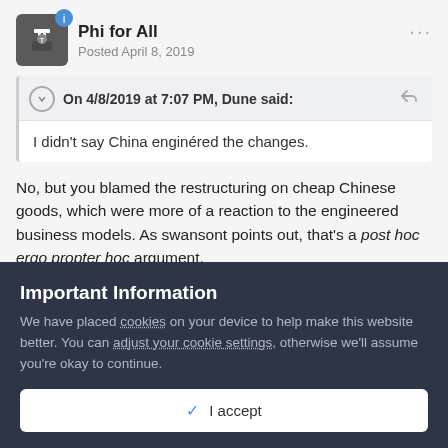[Figure (illustration): User avatar showing a tuxedo/butler icon on dark background with a blue badge]
Phi for All
Posted April 8, 2019
On 4/8/2019 at 7:07 PM, Dune said:
I didn't say China enginered the changes.
No, but you blamed the restructuring on cheap Chinese goods, which were more of a reaction to the engineered business models. As swansont points out, that's a post hoc ergo propter hoc argument.
Important Information
We have placed cookies on your device to help make this website better. You can adjust your cookie settings, otherwise we'll assume you're okay to continue.
✓  I accept